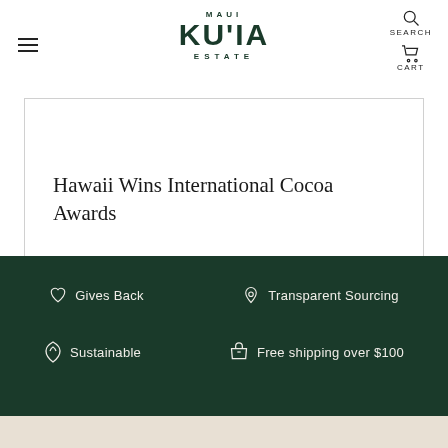MAUI KU'IA ESTATE
Hawaii Wins International Cocoa Awards
Gives Back | Transparent Sourcing | Sustainable | Free shipping over $100